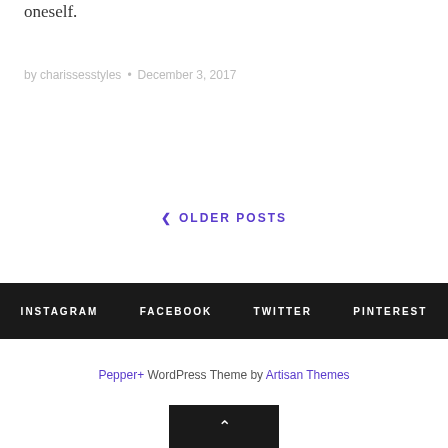oneself.
by charissesstyles • December 3, 2017
‹ OLDER POSTS
INSTAGRAM  FACEBOOK  TWITTER  PINTEREST
Pepper+ WordPress Theme by Artisan Themes
▲